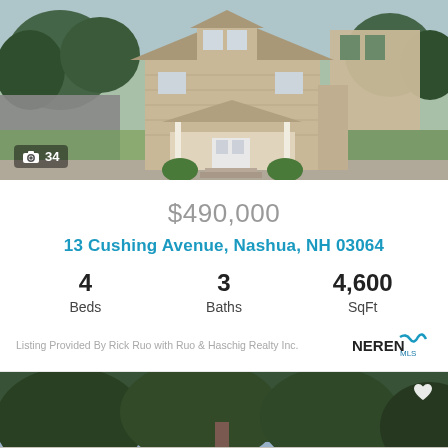[Figure (photo): Exterior photo of a two-story beige colonial house with covered porch, green lawn, and adjacent building. Badge shows camera icon and '34'.]
$490,000
13 Cushing Avenue, Nashua, NH 03064
4 Beds   3 Baths   4,600 SqFt
Listing Provided By Rick Ruo with Ruo & Haschig Realty Inc.
[Figure (photo): Exterior photo of a single-story ranch-style white house with turquoise front door and attached garage, surrounded by green trees. Heart icon in top right corner.]